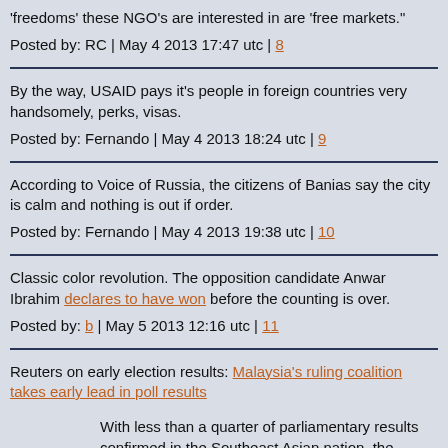'freedoms' these NGO's are interested in are 'free markets.'
Posted by: RC | May 4 2013 17:47 utc | 8
By the way, USAID pays it's people in foreign countries very handsomely, perks, visas.
Posted by: Fernando | May 4 2013 18:24 utc | 9
According to Voice of Russia, the citizens of Banias say the city is calm and nothing is out if order.
Posted by: Fernando | May 4 2013 19:38 utc | 10
Classic color revolution. The opposition candidate Anwar Ibrahim declares to have won before the counting is over.
Posted by: b | May 5 2013 12:16 utc | 11
Reuters on early election results: Malaysia's ruling coalition takes early lead in poll results
With less than a quarter of parliamentary results confirmed in the Southeast Asian nation, the National